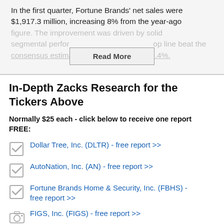In the first quarter, Fortune Brands' net sales were $1,917.3 million, increasing 8% from the year-ago figure. The improvement was driven by solid segmental perfor... op line beat the consensus estimate of $1,872 million by 2.4%.
In-Depth Zacks Research for the Tickers Above
Normally $25 each - click below to receive one report FREE:
Dollar Tree, Inc. (DLTR) - free report >>
AutoNation, Inc. (AN) - free report >>
Fortune Brands Home & Security, Inc. (FBHS) - free report >>
FIGS, Inc. (FIGS) - free report >>